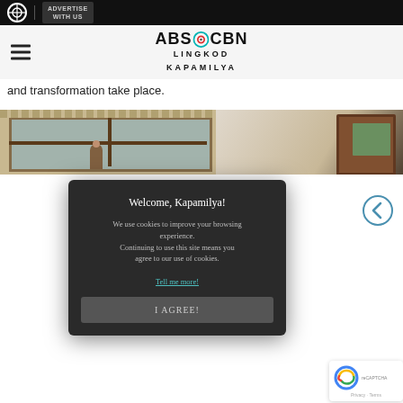ADVERTISE WITH US | ABS-CBN LINGKOD KAPAMILYA
and transformation take place.
[Figure (photo): Interior room photo showing windows with wooden frames and walls]
Welcome, Kapamilya!

We use cookies to improve your browsing experience. Continuing to use this site means you agree to our use of cookies.

Tell me more!

I AGREE!
[Figure (illustration): Left-pointing navigation arrow button (circle outline)]
[Figure (illustration): reCAPTCHA badge with logo, Privacy and Terms links]